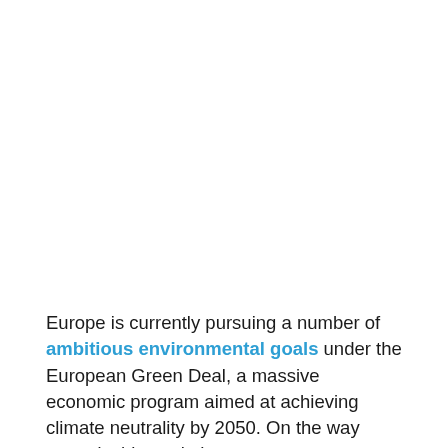Europe is currently pursuing a number of ambitious environmental goals under the European Green Deal, a massive economic program aimed at achieving climate neutrality by 2050. On the way towards this goal, the